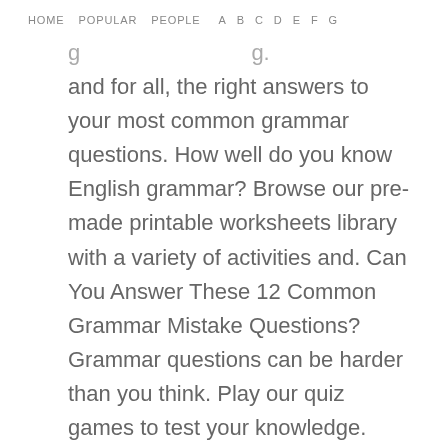HOME   POPULAR   PEOPLE   A   B   C   D   E   F   G
and for all, the right answers to your most common grammar questions. How well do you know English grammar? Browse our pre-made printable worksheets library with a variety of activities and. Can You Answer These 12 Common Grammar Mistake Questions? Grammar questions can be harder than you think. Play our quiz games to test your knowledge.